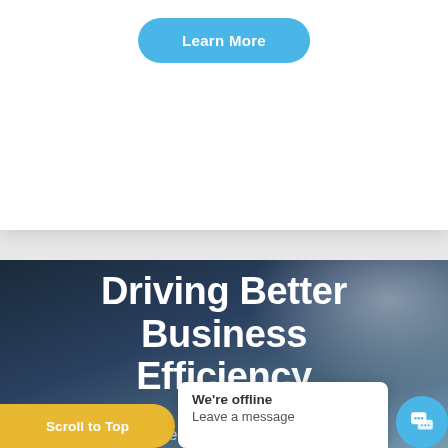[Figure (screenshot): Top white card section with a blue rounded 'Learn More' button centered near the top]
[Figure (screenshot): Hero section with dark blue cloudy sky background showing text 'Driving Better Business Efficiency' in large white bold font, and 'Increase the efficiency of each' in lighter white text at the bottom]
Scroll to Top
We're offline
Leave a message
Increase the efficiency of each